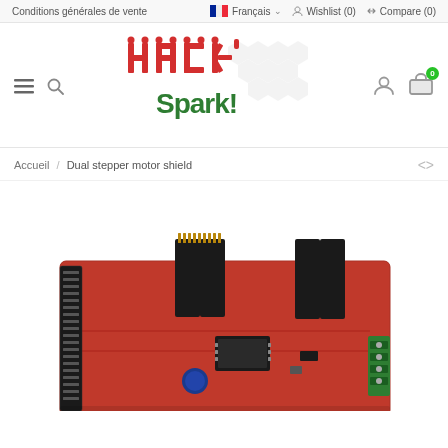Conditions générales de vente  |  Français  |  Wishlist (0)  |  Compare (0)
[Figure (logo): Hack'Spark! logo with red pixel-art lettering and green 'Spark!' text on hexagonal background]
Accueil / Dual stepper motor shield
[Figure (photo): Photo of a red dual stepper motor shield Arduino board with black pin headers and green screw terminals]